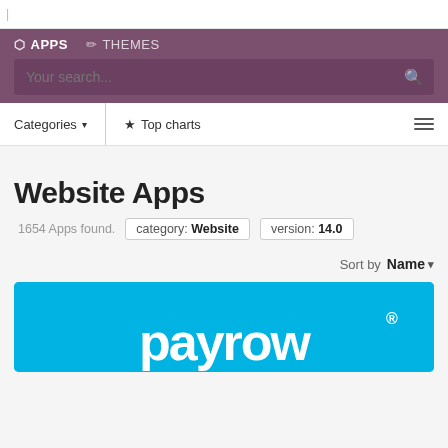|
APPS   THEMES
Your search...
Categories ▾   ★ Top charts   ≡
Website Apps
1654 Apps found.   category: Website   version: 14.0
Sort by   Name ▾
[Figure (logo): Blue banner with white 'payrow' logo and registered trademark symbol]